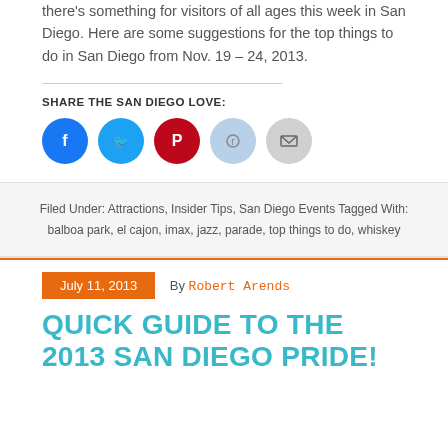there's something for visitors of all ages this week in San Diego. Here are some suggestions for the top things to do in San Diego from Nov. 19 – 24, 2013.
SHARE THE SAN DIEGO LOVE:
[Figure (infographic): Five social sharing buttons: Facebook (blue), Twitter (blue), Pinterest (red), Reddit (light blue), Email (gray)]
Filed Under: Attractions, Insider Tips, San Diego Events Tagged With: balboa park, el cajon, imax, jazz, parade, top things to do, whiskey
July 11, 2013  By Robert Arends
QUICK GUIDE TO THE 2013 SAN DIEGO PRIDE!